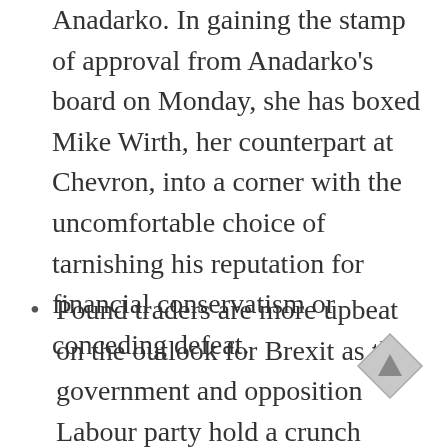Anadarko. In gaining the stamp of approval from Anadarko's board on Monday, she has boxed Mike Wirth, her counterpart at Chevron, into a corner with the uncomfortable choice of tarnishing his reputation for financial conservatism or conceding defeat.
Pound traders are more upbeat on the outlook for Brexit as the government and opposition Labour party hold a crunch meeting to try and reach a deal. One-week risk reversals on the pound-dollar pair, a measure of market positioning, signal investors are the most optimistic on the pound in almost five months. There is only around a